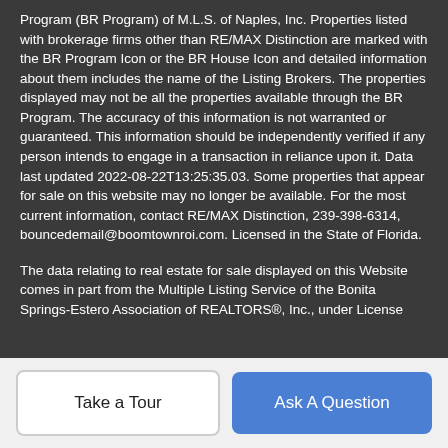Program (BR Program) of M.L.S. of Naples, Inc. Properties listed with brokerage firms other than RE/MAX Distinction are marked with the BR Program Icon or the BR House Icon and detailed information about them includes the name of the Listing Brokers. The properties displayed may not be all the properties available through the BR Program. The accuracy of this information is not warranted or guaranteed. This information should be independently verified if any person intends to engage in a transaction in reliance upon it. Data last updated 2022-08-22T13:25:35.03. Some properties that appear for sale on this website may no longer be available. For the most current information, contact RE/MAX Distinction, 239-398-6314, bouncedemail@boomtownroi.com. Licensed in the State of Florida.
The data relating to real estate for sale displayed on this Website comes in part from the Multiple Listing Service of the Bonita Springs-Estero Association of REALTORS®, Inc., under License
Take a Tour
Ask A Question